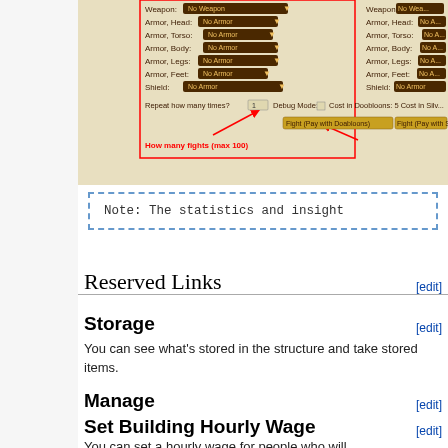[Figure (screenshot): Screenshot of a game interface showing weapon/armor equipment dropdowns with red outlines, and fight controls with red arrows indicating 'How many fights (max 100)', fight buttons, and debug/cost options.]
Note: The statistics and insight
Reserved Links [edit]
Storage [edit]
You can see what's stored in the structure and take stored items.
Manage [edit]
Set Building Hourly Wage [edit]
You can set a hourly wage for people who will